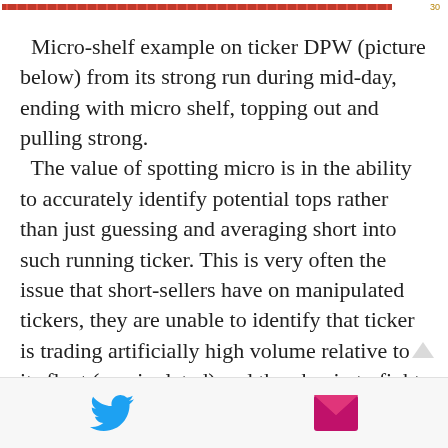Micro-shelf example on ticker DPW (picture below) from its strong run during mid-day, ending with micro shelf, topping out and pulling strong. The value of spotting micro is in the ability to accurately identify potential tops rather than just guessing and averaging short into such running ticker. This is very often the issue that short-sellers have on manipulated tickers, they are unable to identify that ticker is trading artificially high volume relative to its float (manipulated) and they begin to fight the top way too early, wrongly